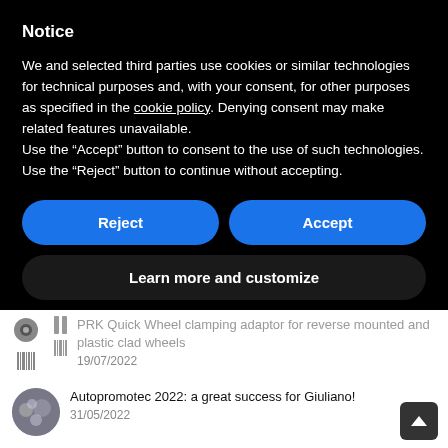Notice
We and selected third parties use cookies or similar technologies for technical purposes and, with your consent, for other purposes as specified in the cookie policy. Denying consent may make related features unavailable.
Use the “Accept” button to consent to the use of such technologies. Use the “Reject” button to continue without accepting.
Reject
Accept
Learn more and customize
PRK Quick Wheel clamping adaptor for reverse mounted and plastic clad wheels
19/07/2022
Autopromotec 2022: a great success for Giuliano!
31/05/2022